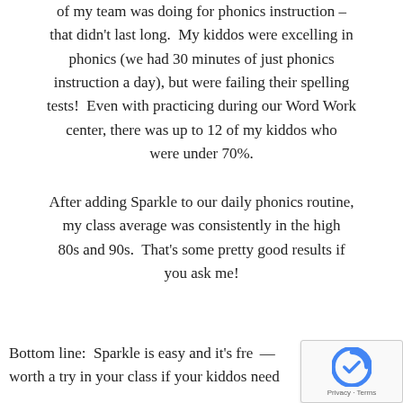of my team was doing for phonics instruction – that didn't last long.  My kiddos were excelling in phonics (we had 30 minutes of just phonics instruction a day), but were failing their spelling tests!  Even with practicing during our Word Work center, there was up to 12 of my kiddos who were under 70%.
After adding Sparkle to our daily phonics routine, my class average was consistently in the high 80s and 90s.  That's some pretty good results if you ask me!
Bottom line:  Sparkle is easy and it's free – worth a try in your class if your kiddos need